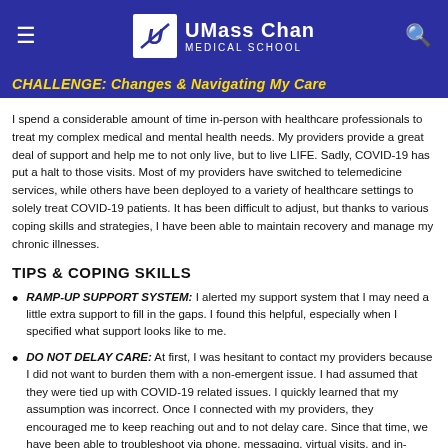UMass Chan Medical School
CHALLENGE: Changes & Navigating My Care
I spend a considerable amount of time in-person with healthcare professionals to treat my complex medical and mental health needs. My providers provide a great deal of support and help me to not only live, but to live LIFE. Sadly, COVID-19 has put a halt to those visits. Most of my providers have switched to telemedicine services, while others have been deployed to a variety of healthcare settings to solely treat COVID-19 patients. It has been difficult to adjust, but thanks to various coping skills and strategies, I have been able to maintain recovery and manage my chronic illnesses.
TIPS & COPING SKILLS
RAMP-UP SUPPORT SYSTEM: I alerted my support system that I may need a little extra support to fill in the gaps. I found this helpful, especially when I specified what support looks like to me.
DO NOT DELAY CARE: At first, I was hesitant to contact my providers because I did not want to burden them with a non-emergent issue. I had assumed that they were tied up with COVID-19 related issues. I quickly learned that my assumption was incorrect. Once I connected with my providers, they encouraged me to keep reaching out and to not delay care. Since that time, we have been able to troubleshoot via phone, messaging, virtual visits, and in-person when absolutely necessary.
UTILIZE TELEHEALTH: I have found digital tools to be worth the hassle...